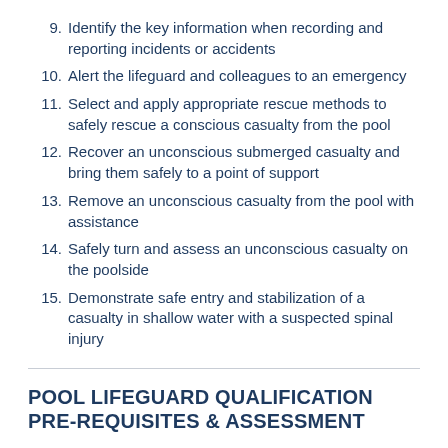9. Identify the key information when recording and reporting incidents or accidents
10. Alert the lifeguard and colleagues to an emergency
11. Select and apply appropriate rescue methods to safely rescue a conscious casualty from the pool
12. Recover an unconscious submerged casualty and bring them safely to a point of support
13. Remove an unconscious casualty from the pool with assistance
14. Safely turn and assess an unconscious casualty on the poolside
15. Demonstrate safe entry and stabilization of a casualty in shallow water with a suspected spinal injury
POOL LIFEGUARD QUALIFICATION PRE-REQUISITES & ASSESSMENT